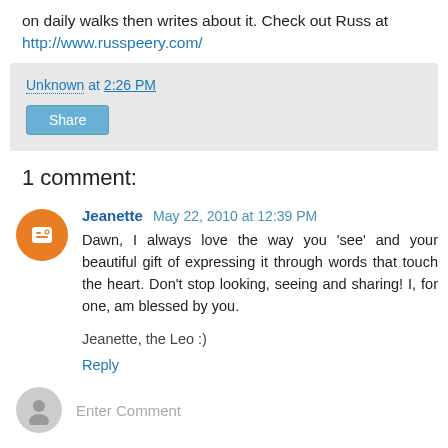on daily walks then writes about it. Check out Russ at http://www.russpeery.com/
Unknown at 2:26 PM
Share
1 comment:
Jeanette May 22, 2010 at 12:39 PM
Dawn, I always love the way you 'see' and your beautiful gift of expressing it through words that touch the heart. Don't stop looking, seeing and sharing! I, for one, am blessed by you.

Jeanette, the Leo :)
Reply
Enter Comment